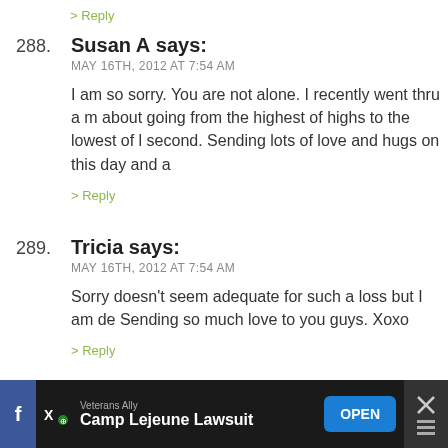> Reply
288. Susan A says:
MAY 16TH, 2012 AT 7:54 AM
I am so sorry. You are not alone. I recently went thru a m about going from the highest of highs to the lowest of l second. Sending lots of love and hugs on this day and a
> Reply
289. Tricia says:
MAY 16TH, 2012 AT 7:54 AM
Sorry doesn't seem adequate for such a loss but I am de Sending so much love to you guys. Xoxo
> Reply
290. jersey girl says:
MAY 16TH, 2012 AT 7:55 AM
I am so sorry, Heather!